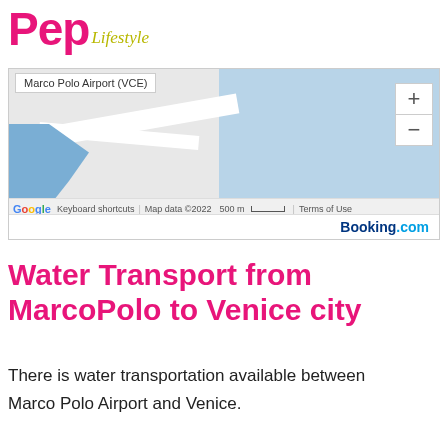Pep Lifestyle
[Figure (map): Google Maps screenshot showing Marco Polo Airport (VCE) area with water and land features, zoom controls, and Booking.com branding at the bottom.]
Water Transport from MarcoPolo to Venice city
There is water transportation available between Marco Polo Airport and Venice.